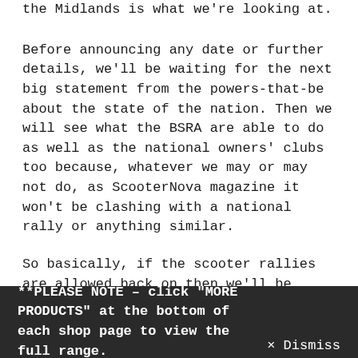the Midlands is what we're looking at.
Before announcing any date or further details, we'll be waiting for the next big statement from the powers-that-be about the state of the nation. Then we will see what the BSRA are able to do as well as the national owners' clubs too because, whatever we may or may not do, as ScooterNova magazine it won't be clashing with a national rally or anything similar.
So basically, if the scooter rallies are allowed back on then we'll be packing our scooters and riding off to them as we always do every year. But if restrictions continue to prevent rallies as we know and love them, but which could allow a new riding
**PLEASE NOTE – click "MORE PRODUCTS" at the bottom of each shop page to view the full range.   × Dismiss